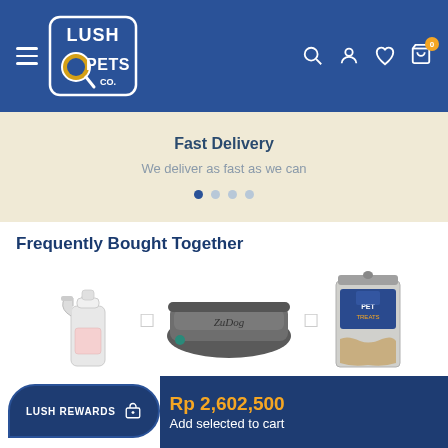[Figure (screenshot): Lush Pets Co. website header with logo, hamburger menu, search, account, wishlist, and cart (0) icons on blue background]
Fast Delivery
We deliver as fast as we can
Frequently Bought Together
[Figure (photo): Three product images: a spray bottle, a grey dog bed, and a bag of pet treats]
Rp 2,602,500
LUSH REWARDS
Add selected to cart